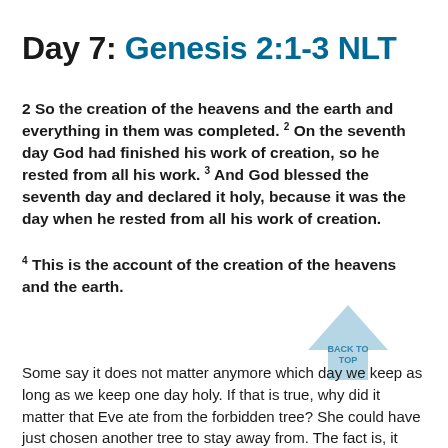Day 7:  Genesis 2:1-3 NLT
2 So the creation of the heavens and the earth and everything in them was completed. 2 On the seventh day God had finished his work of creation, so he rested from all his work. 3 And God blessed the seventh day and declared it holy, because it was the day when he rested from all his work of creation.
4 This is the account of the creation of the heavens and the earth.
[Figure (illustration): Light blue upward-pointing arrow with text BACK TO TOP overlaid]
Some say it does not matter anymore which day we keep as long as we keep one day holy.  If that is true, why did it matter that Eve ate from the forbidden tree?  She could have just chosen another tree to stay away from.  The fact is, it does matter which day we keep because God blessed